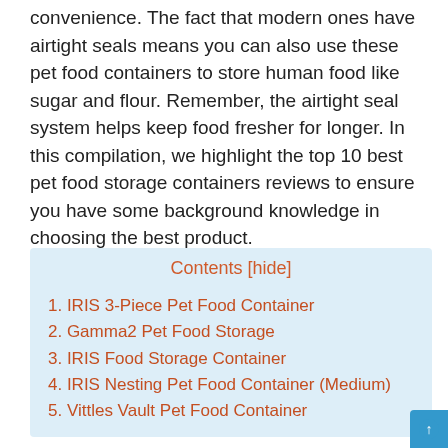convenience. The fact that modern ones have airtight seals means you can also use these pet food containers to store human food like sugar and flour. Remember, the airtight seal system helps keep food fresher for longer. In this compilation, we highlight the top 10 best pet food storage containers reviews to ensure you have some background knowledge in choosing the best product.
Contents [hide]
1. IRIS 3-Piece Pet Food Container
2. Gamma2 Pet Food Storage
3. IRIS Food Storage Container
4. IRIS Nesting Pet Food Container (Medium)
5. Vittles Vault Pet Food Container